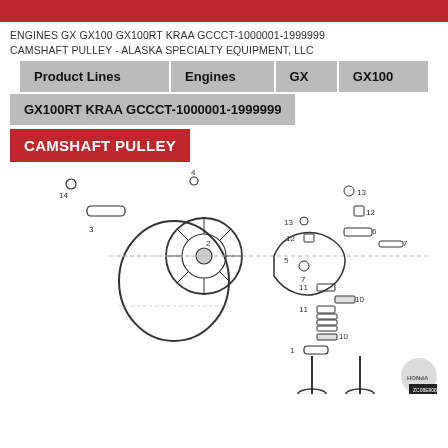ENGINES GX GX100 GX100RT KRAA GCCCT-1000001-1999999 CAMSHAFT PULLEY - ALASKA SPECIALTY EQUIPMENT, LLC
| Product Lines | Engines | GX | GX100 |
| --- | --- | --- | --- |
GX100RT KRAA GCCCT-1000001-1999999
CAMSHAFT PULLEY
[Figure (engineering-diagram): Exploded engineering diagram of camshaft pulley assembly with numbered parts including timing belt, pulley wheel, camshaft components, valves, springs, and related hardware. Part numbers 1-14 are labeled on the diagram.]